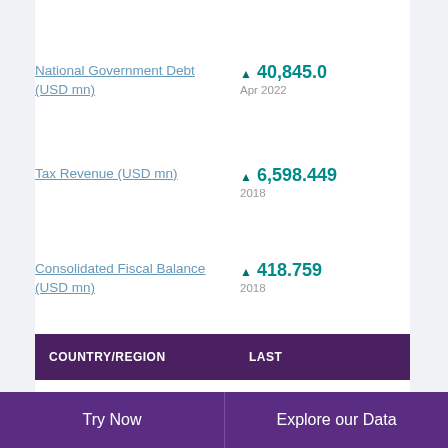National Government Debt (USD mn)
▲ 40,845.0
Apr 2022
Tax Revenue (USD mn)
▲ 6,598.449
2018
Consolidated Fiscal Balance (USD mn)
▲ 418.759
2018
Tax Revenue: % of GDP (%)
▲ 15.3
2018
| COUNTRY/REGION | LAST |
| --- | --- |
Try Now | Explore our Data